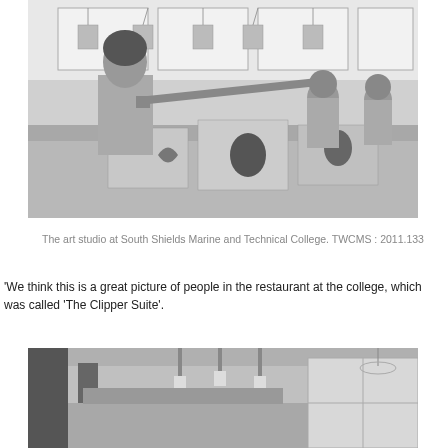[Figure (photo): Black and white photograph of the art studio at South Shields Marine and Technical College. A person in a lab coat is handling a large printing squeegee over a table with print materials. Two other people are seated working in the background near large windows.]
The art studio at South Shields Marine and Technical College. TWCMS : 2011.133
'We think this is a great picture of people in the restaurant at the college, which was called 'The Clipper Suite'.
[Figure (photo): Black and white photograph of a modern restaurant interior with pendant lights hanging from the ceiling, a reception or bar area visible, and large windows in the background.]